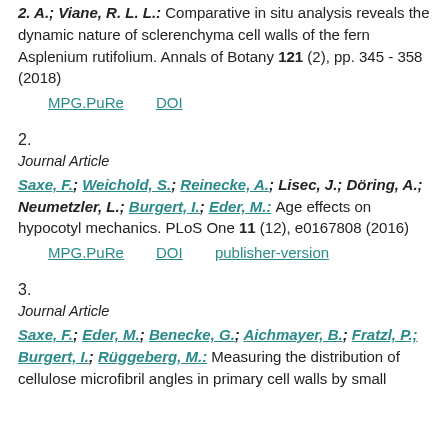2. A.; Viane, R. L. L.: Comparative in situ analysis reveals the dynamic nature of sclerenchyma cell walls of the fern Asplenium rutifolium. Annals of Botany 121 (2), pp. 345 - 358 (2018)
MPG.PuRe   DOI
2.
Journal Article
Saxe, F.; Weichold, S.; Reinecke, A.; Lisec, J.; Döring, A.; Neumetzler, L.; Burgert, I.; Eder, M.: Age effects on hypocotyl mechanics. PLoS One 11 (12), e0167808 (2016)
MPG.PuRe   DOI   publisher-version
3.
Journal Article
Saxe, F.; Eder, M.; Benecke, G.; Aichmayer, B.; Fratzl, P.; Burgert, I.; Rüggeberg, M.: Measuring the distribution of cellulose microfibril angles in primary cell walls by small